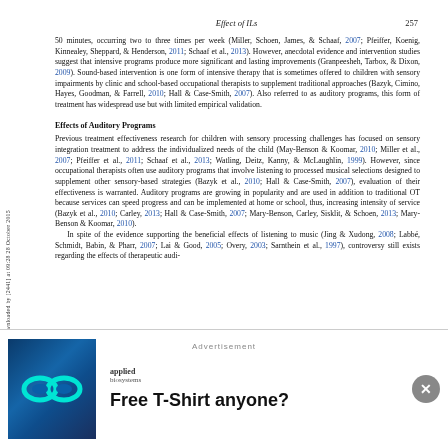Effect of ILs   257
50 minutes, occurring two to three times per week (Miller, Schoen, James, & Schaaf, 2007; Pfeiffer, Koenig, Kinnealey, Sheppard, & Henderson, 2011; Schaaf et al., 2013). However, anecdotal evidence and intervention studies suggest that intensive programs produce more significant and lasting improvements (Granpeesheh, Tarbox, & Dixon, 2009). Sound-based intervention is one form of intensive therapy that is sometimes offered to children with sensory impairments by clinic and school-based occupational therapists to supplement traditional approaches (Bazyk, Cimino, Hayes, Goodman, & Farrell, 2010; Hall & Case-Smith, 2007). Also referred to as auditory programs, this form of treatment has widespread use but with limited empirical validation.
Effects of Auditory Programs
Previous treatment effectiveness research for children with sensory processing challenges has focused on sensory integration treatment to address the individualized needs of the child (May-Benson & Koomar, 2010; Miller et al., 2007; Pfeiffer et al., 2011; Schaaf et al., 2013; Watling, Deitz, Kanny, & McLaughlin, 1999). However, since occupational therapists often use auditory programs that involve listening to processed musical selections designed to supplement other sensory-based strategies (Bazyk et al., 2010; Hall & Case-Smith, 2007), evaluation of their effectiveness is warranted. Auditory programs are growing in popularity and are used in addition to traditional OT because services can speed progress and can be implemented at home or school, thus, increasing intensity of service (Bazyk et al., 2010; Carley, 2013; Hall & Case-Smith, 2007; Mary-Benson, Carley, Sisklit, & Schoen, 2013; Mary-Benson & Koomar, 2010).
    In spite of the evidence supporting the beneficial effects of listening to music (Jing & Xudong, 2008; Labbé, Schmidt, Babin, & Pharr, 2007; Lai & Good, 2005; Overy, 2003; Sarnthein et al., 1997), controversy still exists regarding the effects of therapeutic audi-
[Figure (other): Advertisement banner with Applied Biosystems logo featuring an infinity symbol on blue background and text 'Free T-Shirt anyone?']